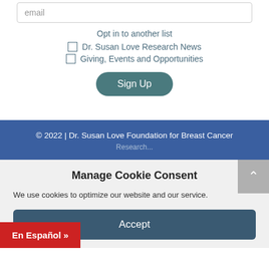email
Opt in to another list
Dr. Susan Love Research News
Giving, Events and Opportunities
Sign Up
© 2022 | Dr. Susan Love Foundation for Breast Cancer Research...
Manage Cookie Consent
We use cookies to optimize our website and our service.
Accept
En Español »